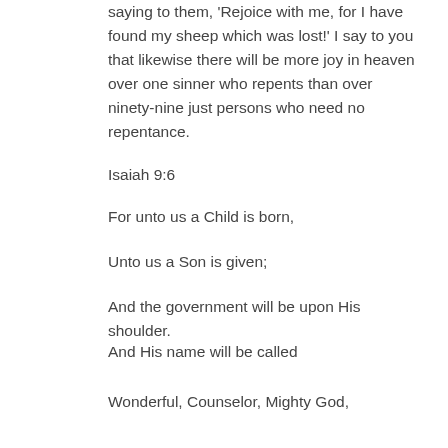saying to them, 'Rejoice with me, for I have found my sheep which was lost!' I say to you that likewise there will be more joy in heaven over one sinner who repents than over ninety-nine just persons who need no repentance.
Isaiah 9:6
For unto us a Child is born,
Unto us a Son is given;
And the government will be upon His shoulder.
And His name will be called
Wonderful, Counselor, Mighty God,